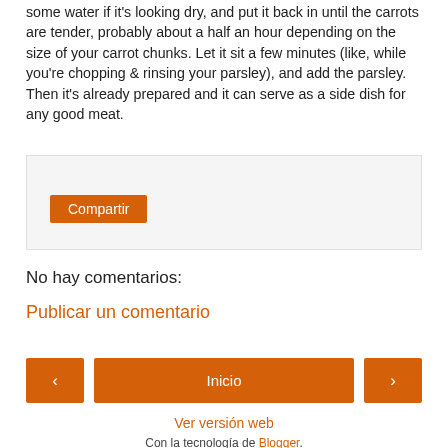some water if it's looking dry, and put it back in until the carrots are tender, probably about a half an hour depending on the size of your carrot chunks. Let it sit a few minutes (like, while you're chopping & rinsing your parsley), and add the parsley. Then it's already prepared and it can serve as a side dish for any good meat.
[Figure (screenshot): A light gray box with a 'Compartir' button in orange]
No hay comentarios:
Publicar un comentario
‹  Inicio  ›
Ver versión web
Con la tecnología de Blogger.